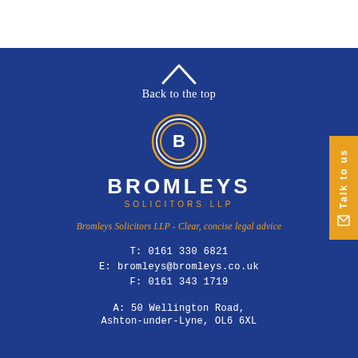[Figure (logo): Bromleys Solicitors LLP logo with circular B emblem and company name]
Back to the top
Bromleys Solicitors LLP - Clear, concise legal advice
T: 0161 330 6821
E: bromleys@bromleys.co.uk
F: 0161 343 1719
A: 50 Wellington Road, Ashton-under-Lyne, OL6 6XL